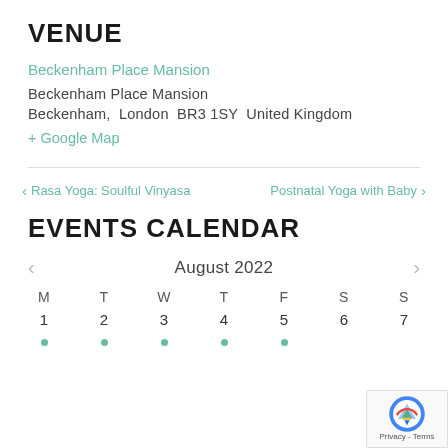VENUE
Beckenham Place Mansion
Beckenham Place Mansion
Beckenham,  London  BR3 1SY  United Kingdom
+ Google Map
< Rasa Yoga: Soulful Vinyasa
Postnatal Yoga with Baby >
EVENTS CALENDAR
August 2022
M  T  W  T  F  S  S
1  2  3  4  5  6  7